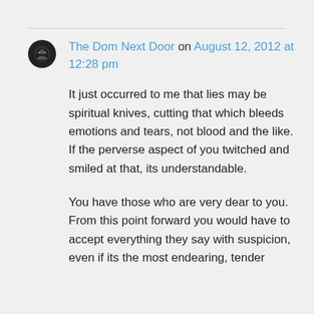The Dom Next Door on August 12, 2012 at 12:28 pm
It just occurred to me that lies may be spiritual knives, cutting that which bleeds emotions and tears, not blood and the like. If the perverse aspect of you twitched and smiled at that, its understandable.

You have those who are very dear to you. From this point forward you would have to accept everything they say with suspicion, even if its the most endearing, tender